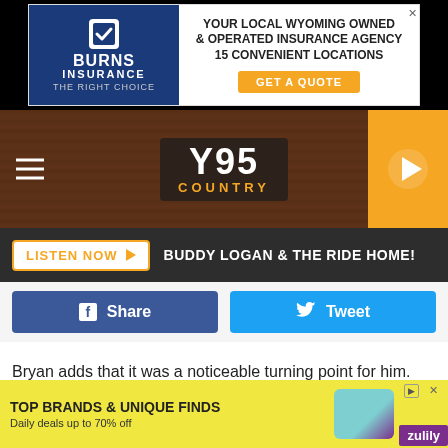[Figure (other): Burns Insurance advertisement banner: blue logo with checkmark, text 'YOUR LOCAL WYOMING OWNED & OPERATED INSURANCE AGENCY 15 CONVENIENT LOCATIONS' with orange GET A QUOTE button]
[Figure (other): Y95 Country radio station navigation bar with wood background, hamburger menu, Y95 COUNTRY logo in center, orange play button on right]
[Figure (other): Dark bar with LISTEN NOW button and text: BUDDY LOGAN & THE RIDE HOME!]
[Figure (other): Social share buttons: blue Facebook Share button and light blue Twitter Tweet button]
Bryan adds that it was a noticeable turning point for him.
"And then you start playing Madison Square Garden, and
[Figure (other): Zulily advertisement: yellow background with text TOP BRANDS & UNIQUE FINDS, Daily deals up to 70% off, with product image and Zulily branding]